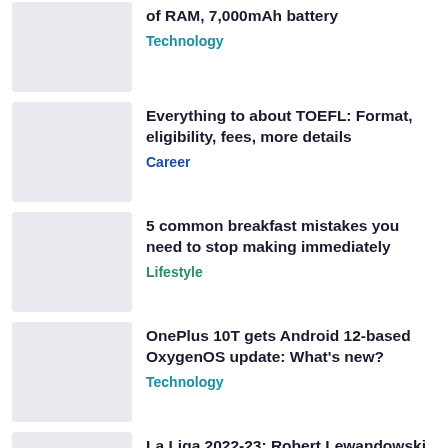of RAM, 7,000mAh battery — Technology
Everything to about TOEFL: Format, eligibility, fees, more details — Career
5 common breakfast mistakes you need to stop making immediately — Lifestyle
OnePlus 10T gets Android 12-based OxygenOS update: What's new? — Technology
La Liga 2022-23: Robert Lewandowski scores brace as Barca win — Sports